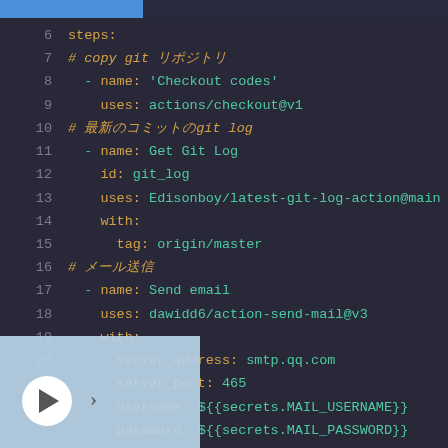[Figure (screenshot): Code editor screenshot showing YAML GitHub Actions workflow configuration with line numbers 6-20, syntax highlighted in dark theme. Lines include steps, git checkout, Git Log action, and Send email action with smtp configuration. Bottom overlay shows a video player control.]